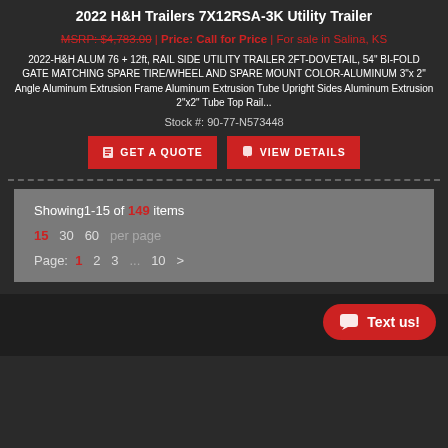2022 H&H Trailers 7X12RSA-3K Utility Trailer
MSRP: $4,783.00 | Price: Call for Price | For sale in Salina, KS
2022-H&H ALUM 76 + 12ft, RAIL SIDE UTILITY TRAILER 2FT-DOVETAIL, 54" BI-FOLD GATE MATCHING SPARE TIRE/WHEEL AND SPARE MOUNT COLOR-ALUMINUM 3"x 2" Angle Aluminum Extrusion Frame Aluminum Extrusion Tube Upright Sides Aluminum Extrusion 2"x2" Tube Top Rail...
Stock #: 90-77-N573448
GET A QUOTE
VIEW DETAILS
Showing1-15 of 149 items
15  30  60  per page
Page: 1  2  3  ...  10  >
Text us!